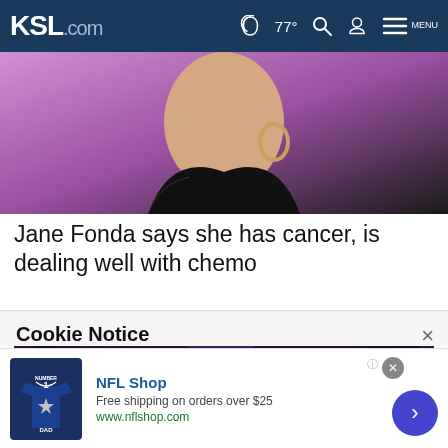KSL.com  77°  MENU
[Figure (photo): Partial view of a woman (Jane Fonda) against a purple background, cropped at neck/shoulders, wearing black top with hoop earring visible]
Jane Fonda says she has cancer, is dealing well with chemo
[Figure (photo): Regal Cinemas theater marquee with REGAL neon signs lit in orange/red against a purple-lit exterior]
Cookie Notice
We use cookies to improve your experience, analyze site traffic, and to personalize content and ads. By continuing to use our site, you consent to our use of cookies. Please visit our Terms of Use and Privacy Policy for more information
NFL Shop
Free shipping on orders over $25
www.nflshop.com